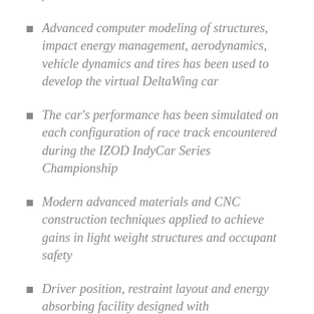for ovals
Advanced computer modeling of structures, impact energy management, aerodynamics, vehicle dynamics and tires has been used to develop the virtual DeltaWing car
The car's performance has been simulated on each configuration of race track encountered during the IZOD IndyCar Series Championship
Modern advanced materials and CNC construction techniques applied to achieve gains in light weight structures and occupant safety
Driver position, restraint layout and energy absorbing facility designed with